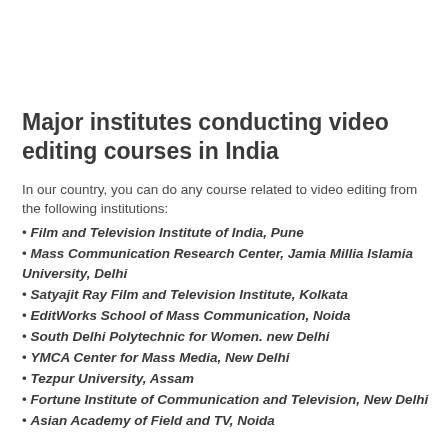Major institutes conducting video editing courses in India
In our country, you can do any course related to video editing from the following institutions:
Film and Television Institute of India, Pune
Mass Communication Research Center, Jamia Millia Islamia University, Delhi
Satyajit Ray Film and Television Institute, Kolkata
EditWorks School of Mass Communication, Noida
South Delhi Polytechnic for Women. new Delhi
YMCA Center for Mass Media, New Delhi
Tezpur University, Assam
Fortune Institute of Communication and Television, New Delhi
Asian Academy of Field and TV, Noida